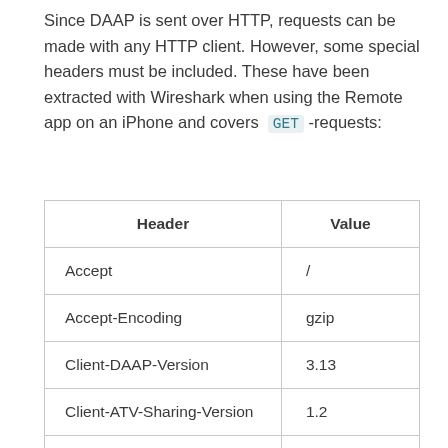Since DAAP is sent over HTTP, requests can be made with any HTTP client. However, some special headers must be included. These have been extracted with Wireshark when using the Remote app on an iPhone and covers GET -requests:
| Header | Value |
| --- | --- |
| Accept | / |
| Accept-Encoding | gzip |
| Client-DAAP-Version | 3.13 |
| Client-ATV-Sharing-Version | 1.2 |
| Client-iTunes-Sharing-Version | 3.15 |
| User-Agent | Remote/1021 |